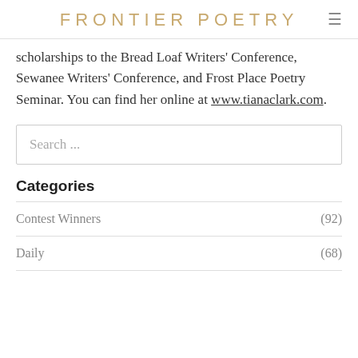FRONTIER POETRY
scholarships to the Bread Loaf Writers' Conference, Sewanee Writers' Conference, and Frost Place Poetry Seminar. You can find her online at www.tianaclark.com.
Search ...
Categories
Contest Winners (92)
Daily (68)